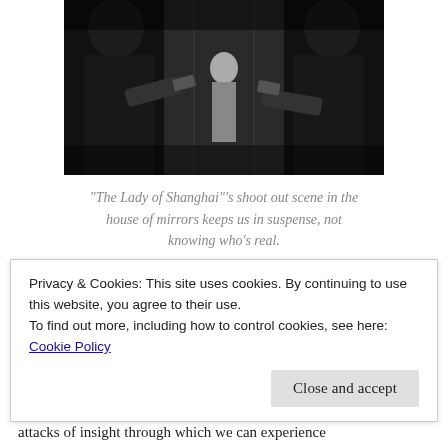[Figure (photo): Black and white film still from 'The Lady of Shanghai' showing a shoot out scene in a house of mirrors, with multiple figures holding guns and a woman visible in the background.]
“The Lady of Shanghai”’s shoot out scene in the house of mirrors keeps us in suspense, not knowing who’s real.
The question is, what does the Moon represent in our
Privacy & Cookies: This site uses cookies. By continuing to use this website, you agree to their use.
To find out more, including how to control cookies, see here:
Cookie Policy
attacks of insight through which we can experience